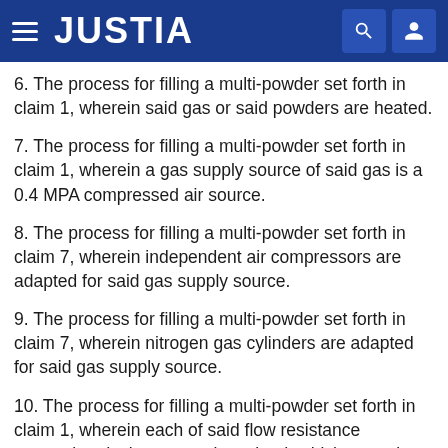JUSTIA
6. The process for filling a multi-powder set forth in claim 1, wherein said gas or said powders are heated.
7. The process for filling a multi-powder set forth in claim 1, wherein a gas supply source of said gas is a 0.4 MPA compressed air source.
8. The process for filling a multi-powder set forth in claim 7, wherein independent air compressors are adapted for said gas supply source.
9. The process for filling a multi-powder set forth in claim 7, wherein nitrogen gas cylinders are adapted for said gas supply source.
10. The process for filling a multi-powder set forth in claim 1, wherein each of said flow resistance measuring devices comprise a load, which comprises a probe with a